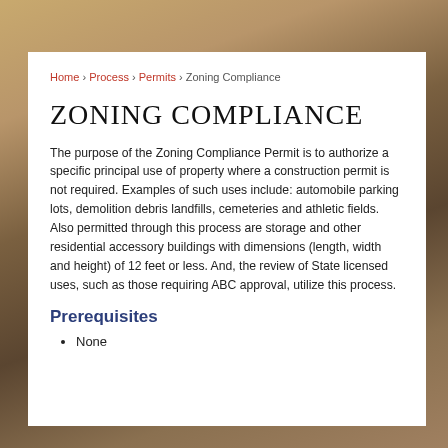Home › Process › Permits › Zoning Compliance
ZONING COMPLIANCE
The purpose of the Zoning Compliance Permit is to authorize a specific principal use of property where a construction permit is not required. Examples of such uses include: automobile parking lots, demolition debris landfills, cemeteries and athletic fields. Also permitted through this process are storage and other residential accessory buildings with dimensions (length, width and height) of 12 feet or less. And, the review of State licensed uses, such as those requiring ABC approval, utilize this process.
Prerequisites
None